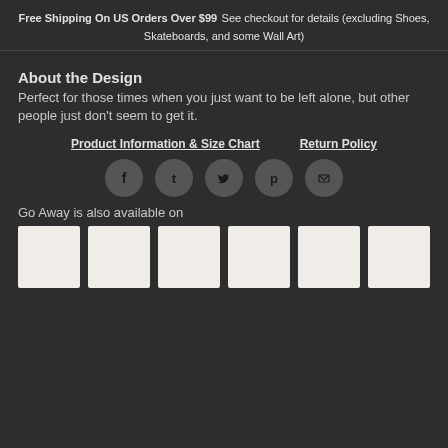Free Shipping On US Orders Over $99 See checkout for details (excluding Shoes, Skateboards, and some Wall Art)
About the Design
Perfect for those times when you just want to be left alone, but other people just don't seem to get it.
Product Information & Size Chart    Return Policy
[Figure (infographic): Row of 5 social media share icons: Facebook, Tumblr, Twitter, Pinterest, Email — all circular dark buttons with white icons]
Go Away is also available on
[Figure (infographic): Row of 6 white product thumbnail images on dark background]